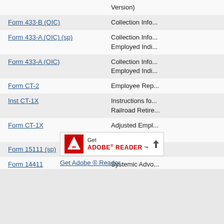| Form | Description |
| --- | --- |
|  | Version) |
| Form 433-B (OIC) | Collection Info... |
| Form 433-A (OIC) (sp) | Collection Info... Employed Indi... |
| Form 433-A (OIC) | Collection Info... Employed Indi... |
| Form CT-2 | Employee Rep... |
| Inst CT-1X | Instructions fo... Railroad Retire... |
| Form CT-1X | Adjusted Empl... or Claim for Re... |
| Form 15111 (sp) | Earned Income... |
| Form 14411 | Systemic Advo... |
| Form 14335 | Primary Conta... |
[Figure (logo): Get Adobe Reader badge with Adobe PDF icon and download arrow]
Get Adobe ® Reader